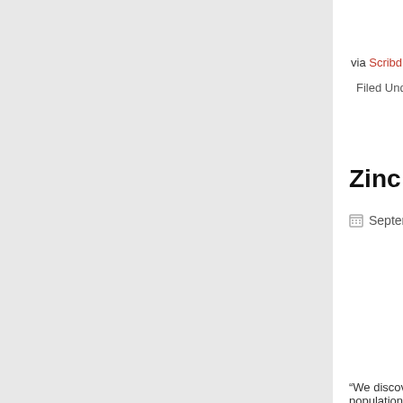via Scribd
Filed Under:
Zinc Regu
September 2
“We discovered t populations of ne